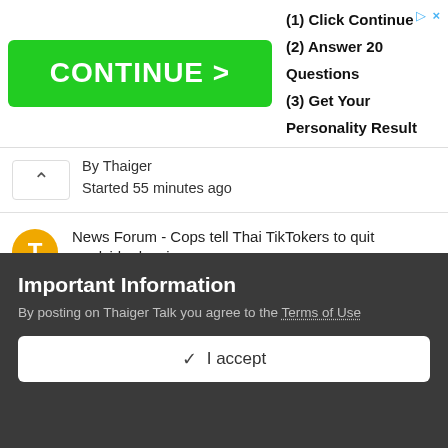[Figure (screenshot): Advertisement banner with green CONTINUE > button and text: (1) Click Continue (2) Answer 20 Questions (3) Get Your Personality Result]
By Thaiger
Started 55 minutes ago
News Forum - Cops tell Thai TikTokers to quit roadside dancing
By Thaiger
Started 1 hour ago
News Forum - Is the 10-year visa attracting Europeans and others to Thailand?
By Thaiger
Started 1 hour ago
Important Information
By posting on Thaiger Talk you agree to the Terms of Use
✓  I accept